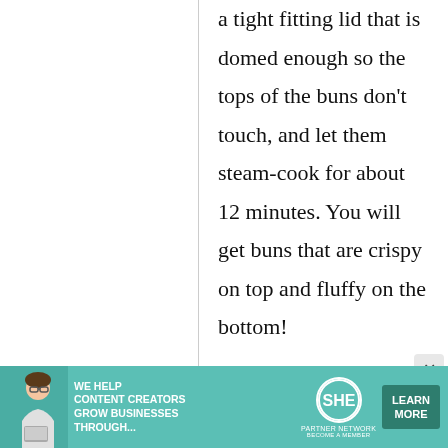a tight fitting lid that is domed enough so the tops of the buns don't touch, and let them steam-cook for about 12 minutes. You will get buns that are crispy on top and fluffy on the bottom!
[Figure (other): Advertisement banner for SHE Media Partner Network: 'We help content creators grow businesses through...' with Learn More button]